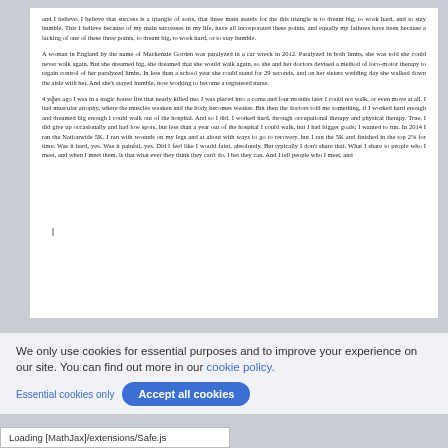and I believe. I believe that success is a triangle of sorts, that three main stands for the this triangle is to dream big, to work hard, and to stay humble. This I believe because of my main successes in my life, have all incorporated these points, and equally my failures have been because a lacking of one of these three points, to dream big, to work hard, or to stay humble.
A woman in England by the name of Mackenzie Gorden was paralyzed in a car wreck in 2012. Paralyzed in both limbs, she was told she could never walk again. But she dreamed big, she dreamed that she would walk again, so she and her doctors devised a method of loco-motor therapy to regain control of her paralyzed limbs. In less than a school year she could stand for 29 seconds, and on her sisters wedding day she walked down the aisle with her. And she's stayed humble, now working to become a registered nurse.
4 years ago I was in a tragic house fire that nearly killed me. I was placed into a coma and four months later I could not walk, or even move at all. I had muscular atrophy, where the muscles weaken and the body becomes weaker. But then the doctors told me something, if I worked hard enough and dreamed big enough I could walk out of the hospital. And so I did. I worked hard, through occupational therapy and physical therapy. True, I did give up occasionally and had low spots, but less than a year out of the hospital I could walk, but I had bigger goals; I wanted to run. In 2014 I ran the Nationwide 5K. I ran with wounds on my legs and at about with ways to go to recovery, but I ran the 5K and finished in the top 2% for time. Was it hard, yes. Was it painful, yes. Did I feel like I would faint, absolutely. But typically I don't share that. What I share to people who I meet, and when I meet them, is that what ever they think they can't do, I bet they can. And I tell people who I meet, and
We only use cookies for essential purposes and to improve your experience on our site. You can find out more in our cookie policy.
Essential cookies only   Accept all cookies
Loading [MathJax]/extensions/Safe.js